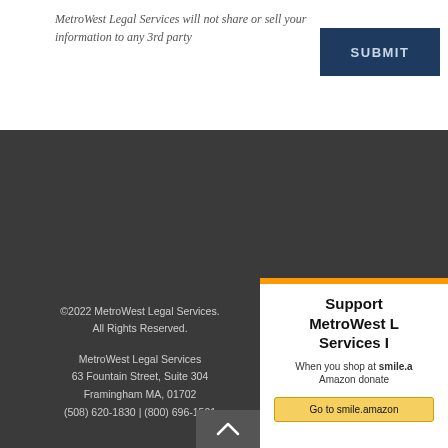MetroWest Legal Services will not share or sell your information to any 3rd party
SUBMIT
©2022 MetroWest Legal Services. All Rights Reserved.
MetroWest Legal Services
63 Fountain Street, Suite 304
Framingham MA, 01702
(508) 620-1830 | (800) 696-1501
[Figure (logo): Live United, United Way Community Partner logo]
[Figure (logo): AmeriCorps logo]
web design + development by bartlett
Support MetroWest Legal Services In
When you shop at smile.a Amazon donate
Go to smile.amazon
[Figure (logo): Amazon Smile logo bar in orange]